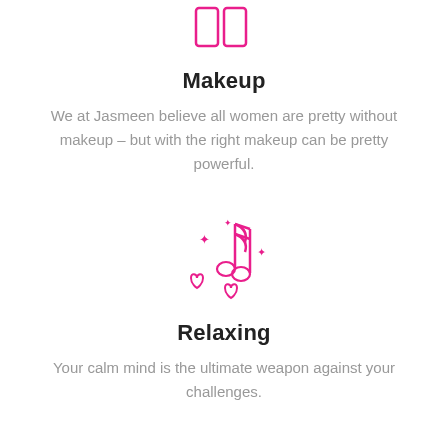[Figure (illustration): Pink outline icon of two rectangles side by side (makeup/mirror icon) at top of page]
Makeup
We at Jasmeen believe all women are pretty without makeup – but with the right makeup can be pretty powerful.
[Figure (illustration): Pink outline icon of a music note with hearts and sparkles around it]
Relaxing
Your calm mind is the ultimate weapon against your challenges.